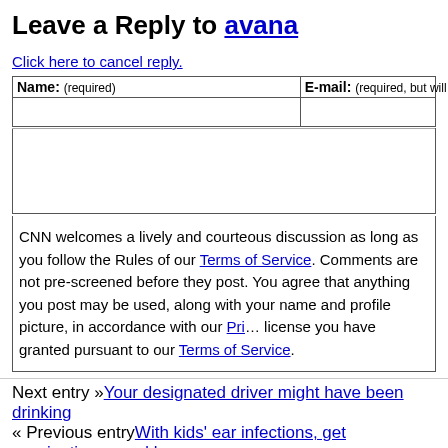Leave a Reply to avana
Click here to cancel reply.
| Name: (required) | E-mail: (required, but will not be published) |
| --- | --- |
|  |  |
CNN welcomes a lively and courteous discussion as long as you follow the Rules of our Terms of Service. Comments are not pre-screened before they post. You agree that anything you post may be used, along with your name and profile picture, in accordance with our Privacy Policy and the license you have granted pursuant to our Terms of Service.
Next entry »Your designated driver might have been drinking
« Previous entryWith kids' ear infections, get vaccinations - and keep